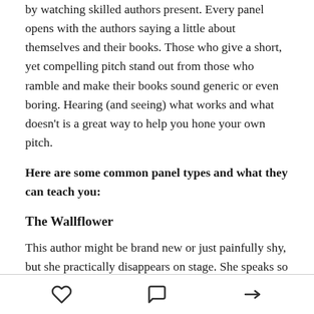by watching skilled authors present. Every panel opens with the authors saying a little about themselves and their books. Those who give a short, yet compelling pitch stand out from those who ramble and make their books sound generic or even boring. Hearing (and seeing) what works and what doesn't is a great way to help you hone your own pitch.
Here are some common panel types and what they can teach you:
The Wallflower
This author might be brand new or just painfully shy, but she practically disappears on stage. She speaks so softly no one but the front row can hear her, and she
heart  comment  share